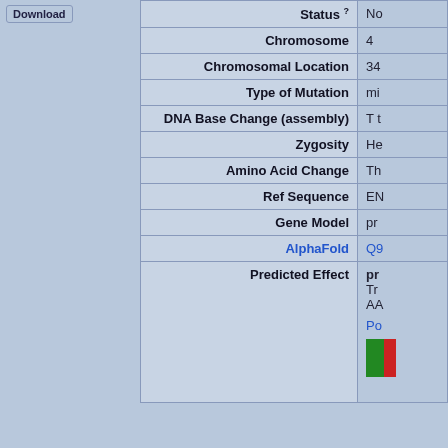| Field | Value |
| --- | --- |
| Status (?) | No... |
| Chromosome | 4 |
| Chromosomal Location | 34... |
| Type of Mutation | mi... |
| DNA Base Change (assembly) | T t... |
| Zygosity | He... |
| Amino Acid Change | Th... |
| Ref Sequence | EN... |
| Gene Model | pr... |
| AlphaFold | Q9... |
| Predicted Effect | pr...
Tr...
AA...
Po... |